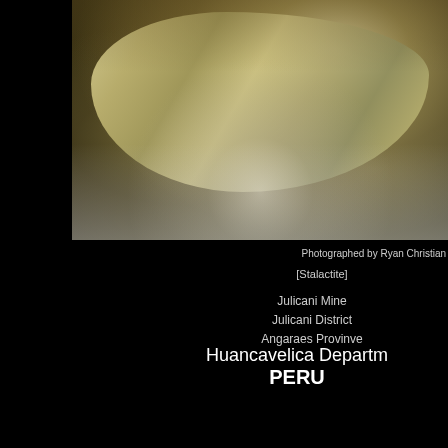[Figure (photo): Close-up macro photograph of a yellowish-green stalactite mineral specimen from the Julicani Mine, Peru. The mineral surface shows rough crystalline texture with pale yellow-green coloration against a dark background. The bottom of the image shows a lighter grey reflective surface.]
Photographed by Ryan Christian
[Stalactite]
Julicani Mine
Julicani District
Angaraes Provinve
Huancavelica Departm
PERU